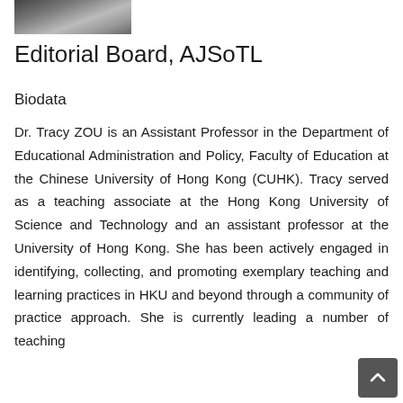[Figure (photo): Partial photo of a person at the top of the page]
Editorial Board, AJSoTL
Biodata
Dr. Tracy ZOU is an Assistant Professor in the Department of Educational Administration and Policy, Faculty of Education at the Chinese University of Hong Kong (CUHK). Tracy served as a teaching associate at the Hong Kong University of Science and Technology and an assistant professor at the University of Hong Kong. She has been actively engaged in identifying, collecting, and promoting exemplary teaching and learning practices in HKU and beyond through a community of practice approach. She is currently leading a number of teaching